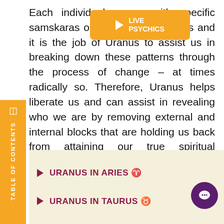Each individual comes with specific samskaras or past life impressions and it is the job of Uranus to assist us in breaking down these patterns through the process of change – at times radically so. Therefore, Uranus helps liberate us and can assist in revealing who we are by removing external and internal blocks that are holding us back from attaining our true spiritual potential.
URANUS IN ARIES ♈
URANUS IN TAURUS ♉